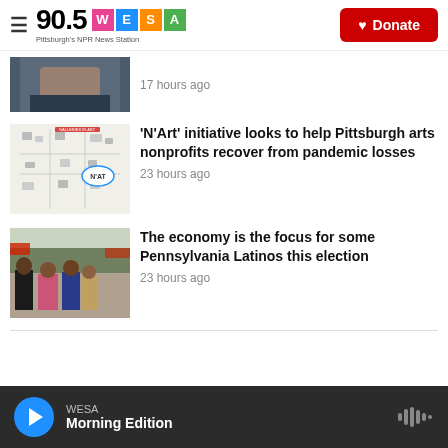90.5 WESA — Pittsburgh's NPR News Station — Donate
[Figure (photo): Partial close-up photo of a person's face, showing forehead and eyes]
17 hours ago
[Figure (photo): N'Art initiative map illustration showing Pittsburgh arts locations]
'N'Art' initiative looks to help Pittsburgh arts nonprofits recover from pandemic losses
23 hours ago
[Figure (photo): Group of people at an outdoor gathering or parade, several women in foreground]
The economy is the focus for some Pennsylvania Latinos this election
23 hours ago
WESA — Morning Edition (audio player bar)